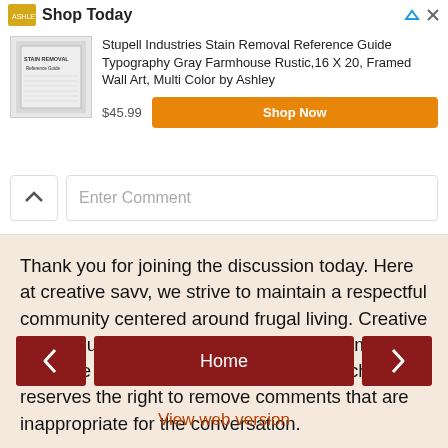[Figure (screenshot): Ad banner: Ashley furniture logo, 'Shop Today' heading with arrow and close icons, product image thumbnail, product title 'Stupell Industries Stain Removal Reference Guide Typography Gray Farmhouse Rustic,16 X 20, Framed Wall Art, Multi Color by Ashley', price $45.99, orange 'Shop Now' button]
Enter Comment
Thank you for joining the discussion today. Here at creative savv, we strive to maintain a respectful community centered around frugal living. Creative savv would like to continue to be a welcoming and safe place for discussion, and as such reserves the right to remove comments that are inappropriate for the conversation.
Home
View web version